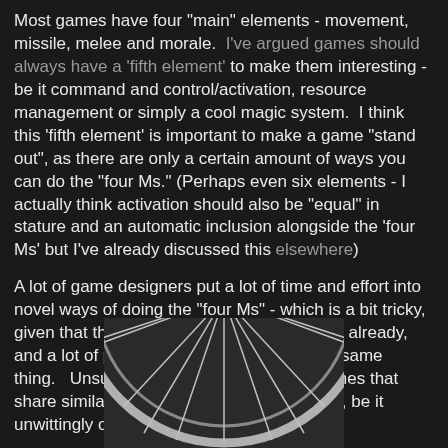Most games have four "main" elements - movement, missile, melee and morale. I've argued games should always have a 'fifth element' to make them interesting - be it command and control/activation, resource management or simply a cool magic system. I think this 'fifth element' is important to make a game "stand out", as there are only a certain amount of ways you can do the "four Ms." (Perhaps even six elements - I actually think activation should also be "equal" in stature and an automatic inclusion alongside the 'four Ms' but I've already discussed this elsewhere)
A lot of game designers put a lot of time and effort into novel ways of doing the "four Ms" - which is a bit tricky, given that there are a lot of games out there already, and a lot of people who are trying to do the same thing. Unsurprisingly, there are a lot of games that share similar (or identical) game mechanics, be it unwittingly or intentionally.
[Figure (photo): Bottom portion of a bicycle wheel showing the rim, spokes, and hub against a dark background]